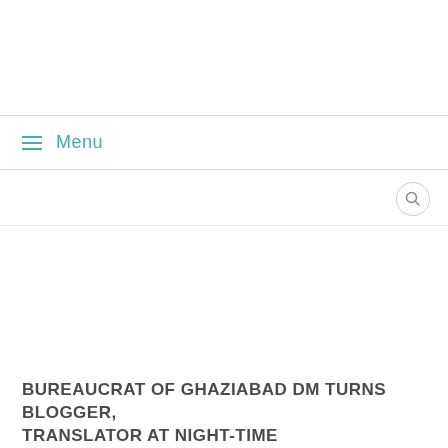≡ Menu
[Figure (other): Search icon button (magnifying glass) in a circle on the right side of the navigation area]
BUREAUCRAT OF GHAZIABAD DM TURNS BLOGGER, TRANSLATOR AT NIGHT-TIME